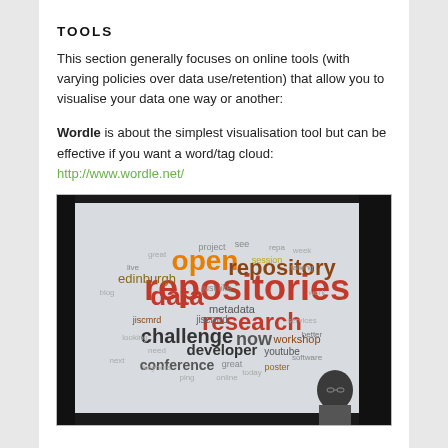TOOLS
This section generally focuses on online tools (with varying policies over data use/retention) that allow you to visualise your data one way or another:
Wordle is about the simplest visualisation tool but can be effective if you want a word/tag cloud: http://www.wordle.net/
[Figure (photo): Photograph of a person presenting in front of a projected word cloud. The word cloud features terms like 'open', 'repository', 'repositories', 'data', 'research', 'challenge', 'now', 'developer', 'conference', 'edinburgh', 'metadata', 'jiscmrd', 'workshop', and many others in various colors (orange, olive/gold, dark red, grey).]